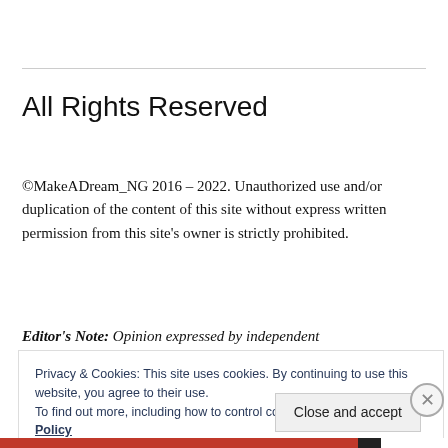All Rights Reserved
©MakeADream_NG 2016 – 2022. Unauthorized use and/or duplication of the content of this site without express written permission from this site's owner is strictly prohibited.
Editor's Note: Opinion expressed by independent
Privacy & Cookies: This site uses cookies. By continuing to use this website, you agree to their use.
To find out more, including how to control cookies, see here: Cookie Policy
Close and accept